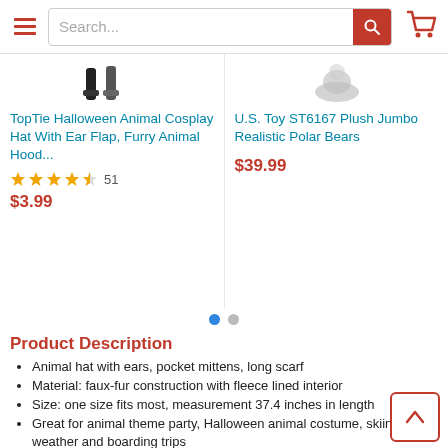[Figure (screenshot): E-commerce website header with hamburger menu, search bar, and cart icon]
TopTie Halloween Animal Cosplay Hat With Ear Flap, Furry Animal Hood...
4.5 stars, 51 reviews
$3.99
U.S. Toy ST6167 Plush Jumbo Realistic Polar Bears
$39.99
Product Description
Animal hat with ears, pocket mittens, long scarf
Material: faux-fur construction with fleece lined interior
Size: one size fits most, measurement 37.4 inches in length
Great for animal theme party, Halloween animal costume, skiing, cold weather and boarding trips
Care: Hand wash and dry flat. If you would like any other kinds of animal hats, please inform us, we have more than 81 kinds of animal hats to choose from.